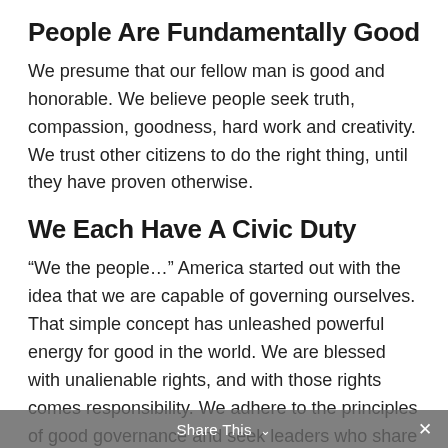People Are Fundamentally Good
We presume that our fellow man is good and honorable. We believe people seek truth, compassion, goodness, hard work and creativity. We trust other citizens to do the right thing, until they have proven otherwise.
We Each Have A Civic Duty
“We the people…” America started out with the idea that we are capable of governing ourselves. That simple concept has unleashed powerful energy for good in the world. We are blessed with unalienable rights, and with those rights comes responsibility. We adhere to the principles of good governance and seek leaders who share our values – without exception.
Share This ∨  ×